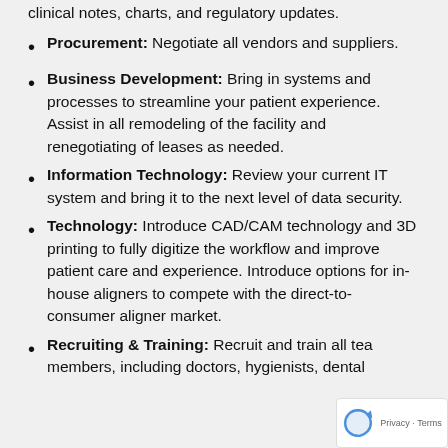clinical notes, charts, and regulatory updates.
Procurement: Negotiate all vendors and suppliers.
Business Development: Bring in systems and processes to streamline your patient experience. Assist in all remodeling of the facility and renegotiating of leases as needed.
Information Technology: Review your current IT system and bring it to the next level of data security.
Technology: Introduce CAD/CAM technology and 3D printing to fully digitize the workflow and improve patient care and experience. Introduce options for in-house aligners to compete with the direct-to-consumer aligner market.
Recruiting & Training: Recruit and train all team members, including doctors, hygienists, dental